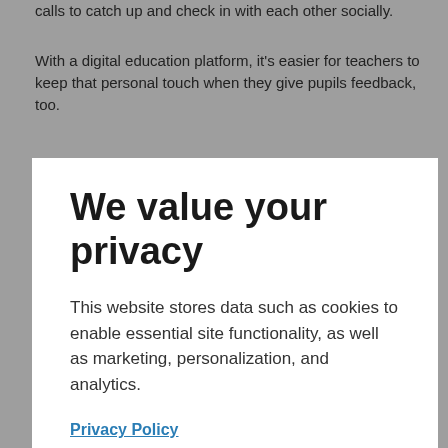calls to catch up and check in with each other socially.
With a digital education platform, it's easier for teachers to keep that personal touch when they give pupils feedback, too.
[Figure (screenshot): Cookie consent modal overlay with title 'We value your privacy', body text about cookies, a Privacy Policy link, an Accept button (blue), and a Deny button (pink/red).]
and pupils submit work.
Most importantly, teachers give pupils personalised feedback and can do easily. This means that pupils can keep learning new